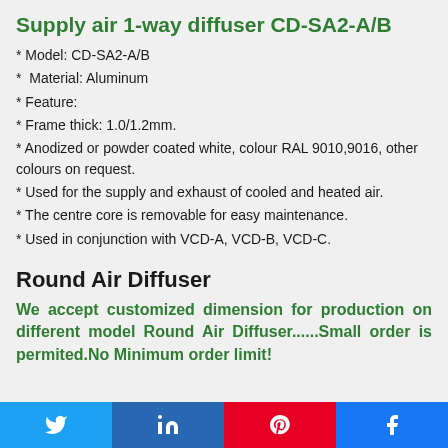Supply air 1-way diffuser CD-SA2-A/B
* Model: CD-SA2-A/B
*  Material: Aluminum
* Feature:
* Frame thick: 1.0/1.2mm.
* Anodized or powder coated white, colour RAL 9010,9016, other colours on request.
* Used for the supply and exhaust of cooled and heated air.
* The centre core is removable for easy maintenance.
* Used in conjunction with VCD-A, VCD-B, VCD-C.
Round Air Diffuser
We accept customized dimension for production on different model Round Air Diffuser......Small order is permited.No Minimum order limit!